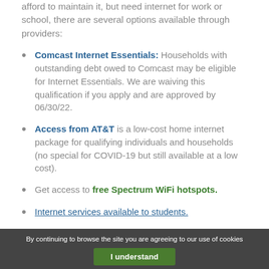afford to maintain it, but need internet for work or school, there are several options available through providers:
Comcast Internet Essentials: Households with outstanding debt owed to Comcast may be eligible for Internet Essentials. We are waiving this qualification if you apply and are approved by 06/30/22.
Access from AT&T is a low-cost home internet package for qualifying individuals and households (no special for COVID-19 but still available at a low cost).
Get access to free Spectrum WiFi hotspots.
Internet services available to students.
By continuing to browse the site you are agreeing to our use of cookies